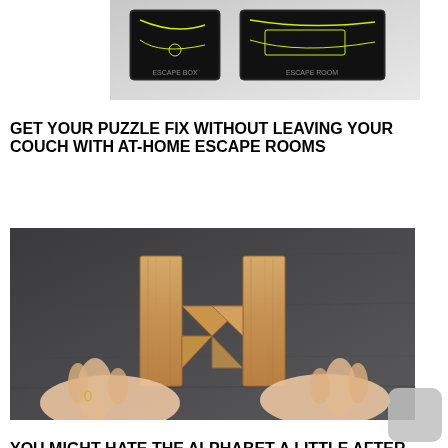[Figure (photo): Dark product boxes with neon/yellow diagram designs on a grey surface — at-home escape room board game boxes]
GET YOUR PUZZLE FIX WITHOUT LEAVING YOUR COUCH WITH AT-HOME ESCAPE ROOMS
[Figure (photo): Two hands assembling wooden puzzle pieces shaped like the letter H on a dark grey slate surface]
YOU MIGHT HATE THE ALPHABET A LITTLE AFTER AN HOUR OR TWO WITH THE HALF-H